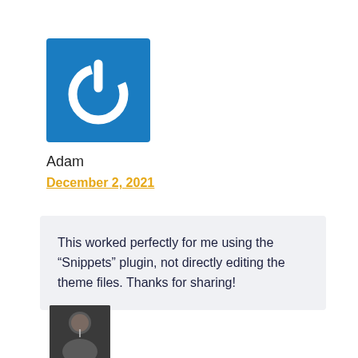[Figure (logo): Blue square with white power button icon (circle with line at top)]
Adam
December 2, 2021
This worked perfectly for me using the “Snippets” plugin, not directly editing the theme files. Thanks for sharing!
[Figure (photo): Small photo of a person (appears to be a man) at the bottom left of the page]